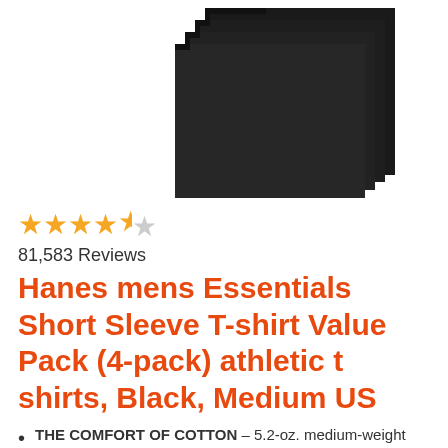[Figure (photo): Stack of four black Hanes t-shirts fanned out, viewed from above at an angle, showing folded shirts stacked on top of each other.]
★★★★½
81,583 Reviews
Hanes mens Essentials Short Sleeve T-shirt Value Pack (4-pack) athletic t shirts, Black, Medium US
THE COMFORT OF COTTON – 5.2-oz. medium-weight cotton for